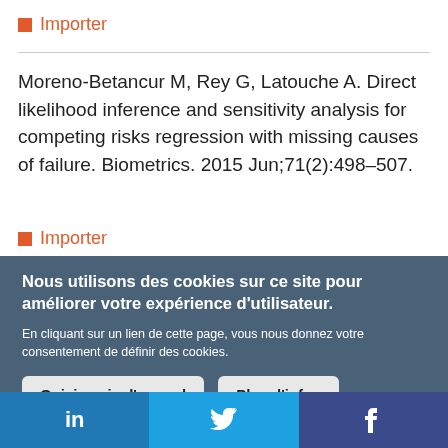■ Importer
Moreno-Betancur M, Rey G, Latouche A. Direct likelihood inference and sensitivity analysis for competing risks regression with missing causes of failure. Biometrics. 2015 Jun;71(2):498–507.
■ Importer
Nous utilisons des cookies sur ce site pour améliorer votre expérience d'utilisateur.
En cliquant sur un lien de cette page, vous nous donnez votre consentement de définir des cookies.
Oui, je suis d'accord | Plus d'infos
[Figure (other): Social media sharing bar with LinkedIn, Twitter, and Facebook icons]